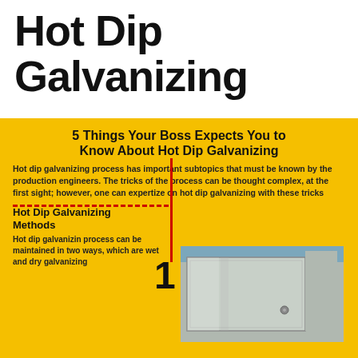Hot Dip Galvanizing
5 Things Your Boss Expects You to Know About Hot Dip Galvanizing
Hot dip galvanizing process has important subtopics that must be known by the production engineers. The tricks of the process can be thought complex, at the first sight; however, one can expertize on hot dip galvanizing with these tricks
Hot Dip Galvanizing Methods
Hot dip galvanizin process can be maintained in two ways, which are wet and dry galvanizing
[Figure (photo): Galvanized steel box/container with shiny zinc-coated surface against blue sky background]
[Figure (photo): Cross-section microstructure of galvanized coating showing Eta and Zeta layers]
Iron and Zinc Reactions